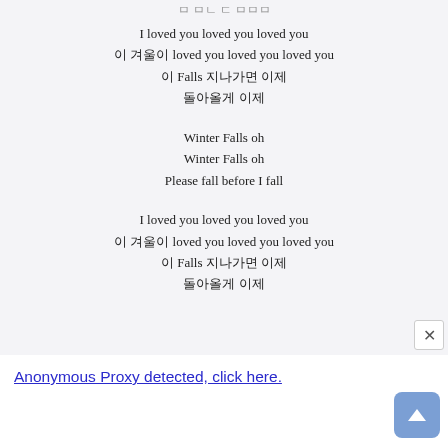I loved you loved you loved you
이 겨울이 loved you loved you loved you
이 Falls 지나가면 이제
돌아올게 이제
Winter Falls oh
Winter Falls oh
Please fall before I fall
I loved you loved you loved you
이 겨울이 loved you loved you loved you
이 Falls 지나가면 이제
돌아올게 이제
Anonymous Proxy detected, click here.